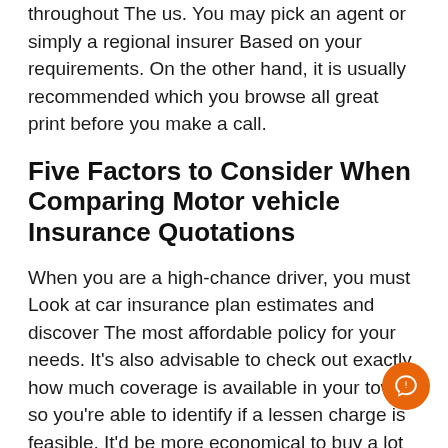throughout The us. You may pick an agent or simply a regional insurer Based on your requirements. On the other hand, it is usually recommended which you browse all great print before you make a call.
Five Factors to Consider When Comparing Motor vehicle Insurance Quotations
When you are a high-chance driver, you must Look at car insurance plan estimates and discover The most affordable policy for your needs. It's also advisable to check out exactly how much coverage is available in your town so you're able to identify if a lessen charge is feasible. It'd be more economical to buy a lot more coverage When you have lessen risk or if you settle for a higher deductible. Everything depends upon your needs. Thankfully, there are many possibilities accessible to you.
Choosing your coverage from a local insurer